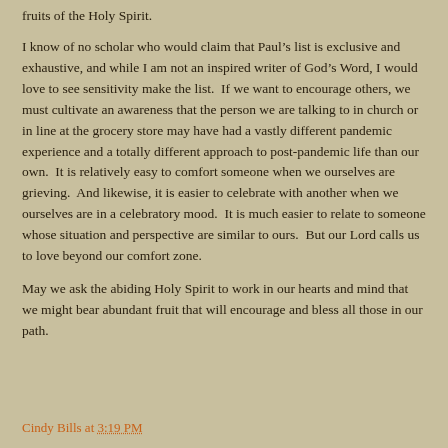fruits of the Holy Spirit.
I know of no scholar who would claim that Paul’s list is exclusive and exhaustive, and while I am not an inspired writer of God’s Word, I would love to see sensitivity make the list.  If we want to encourage others, we must cultivate an awareness that the person we are talking to in church or in line at the grocery store may have had a vastly different pandemic experience and a totally different approach to post-pandemic life than our own.  It is relatively easy to comfort someone when we ourselves are grieving.  And likewise, it is easier to celebrate with another when we ourselves are in a celebratory mood.  It is much easier to relate to someone whose situation and perspective are similar to ours.  But our Lord calls us to love beyond our comfort zone.
May we ask the abiding Holy Spirit to work in our hearts and mind that we might bear abundant fruit that will encourage and bless all those in our path.
Cindy Bills at 3:19 PM